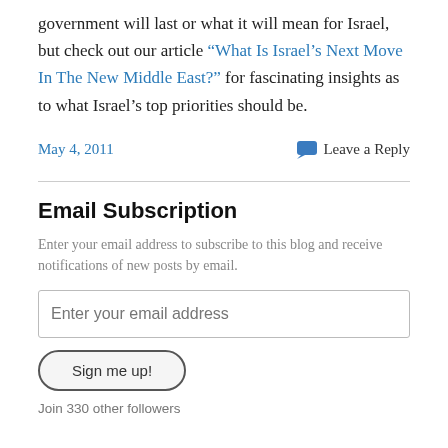government will last or what it will mean for Israel, but check out our article “What Is Israel’s Next Move In The New Middle East?” for fascinating insights as to what Israel’s top priorities should be.
May 4, 2011
Leave a Reply
Email Subscription
Enter your email address to subscribe to this blog and receive notifications of new posts by email.
Enter your email address
Sign me up!
Join 330 other followers